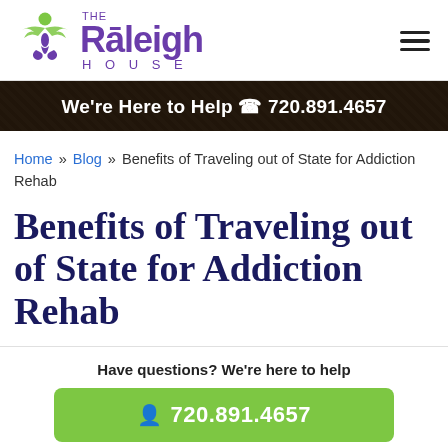[Figure (logo): The Raleigh House logo with green winged figure and purple text]
We're Here to Help 720.891.4657
Home » Blog » Benefits of Traveling out of State for Addiction Rehab
Benefits of Traveling out of State for Addiction Rehab
Have questions? We're here to help
720.891.4657